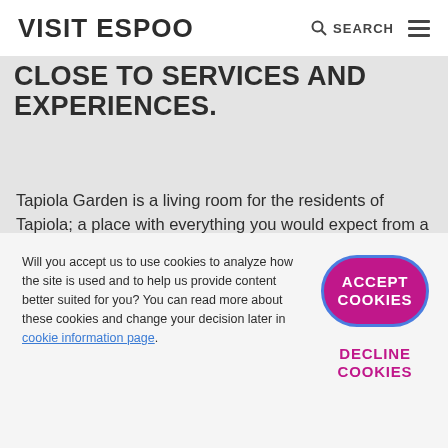VISIT ESPOO  SEARCH
CLOSE TO SERVICES AND EXPERIENCES.
Tapiola Garden is a living room for the residents of Tapiola; a place with everything you would expect from a fine hotel. You can have dinner at restaurant Grill It!, serving food made of first-class ingredients cooked on a charcoal barbecue. The saunas are heated on weekday evenings and in the morning and in the evening at weekends. A quick swim in the sauna
Will you accept us to use cookies to analyze how the site is used and to help us provide content better suited for you? You can read more about these cookies and change your decision later in cookie information page.
ACCEPT COOKIES
DECLINE COOKIES